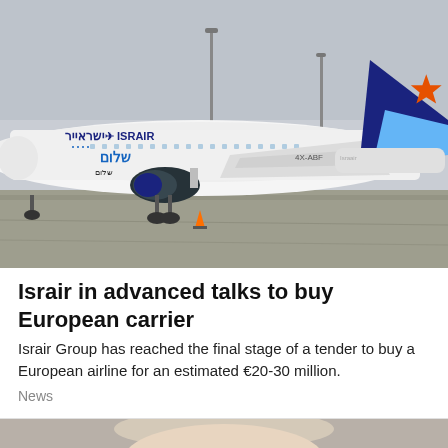[Figure (photo): Israir airline aircraft on tarmac with orange star logo on tail, Hebrew text and Israir branding on fuselage]
Israir in advanced talks to buy European carrier
Israir Group has reached the final stage of a tender to buy a European airline for an estimated €20-30 million.
News
[Figure (photo): Partial view of a person's face at the bottom of the page]